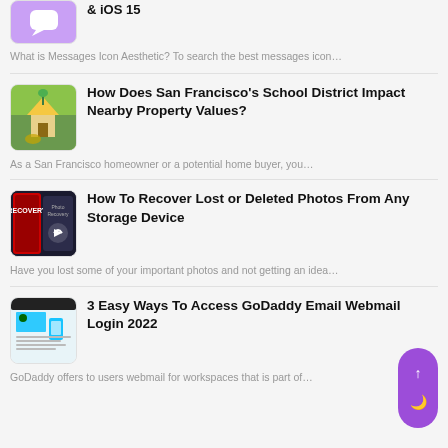& iOS 15
What is Messages Icon Aesthetic? To search the best messages icon…
How Does San Francisco's School District Impact Nearby Property Values?
As a San Francisco homeowner or a potential home buyer, you…
How To Recover Lost or Deleted Photos From Any Storage Device
Have you lost some of your important photos and not getting an idea…
3 Easy Ways To Access GoDaddy Email Webmail Login 2022
GoDaddy offers to users webmail for workspaces that is part of…